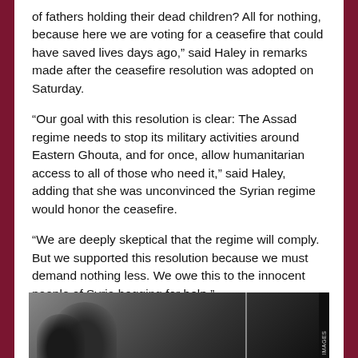of fathers holding their dead children? All for nothing, because here we are voting for a ceasefire that could have saved lives days ago," said Haley in remarks made after the ceasefire resolution was adopted on Saturday.
“Our goal with this resolution is clear: The Assad regime needs to stop its military activities around Eastern Ghouta, and for once, allow humanitarian access to all of those who need it," said Haley, adding that she was unconvinced the Syrian regime would honor the ceasefire.
“We are deeply skeptical that the regime will comply. But we supported this resolution because we must demand nothing less. We owe this to the innocent people of Syria begging for help."
[Figure (photo): Black and white photograph showing silhouettes of people, partially visible at the bottom of the page. A vertical image credit reads 'IMAGES' on the right side.]